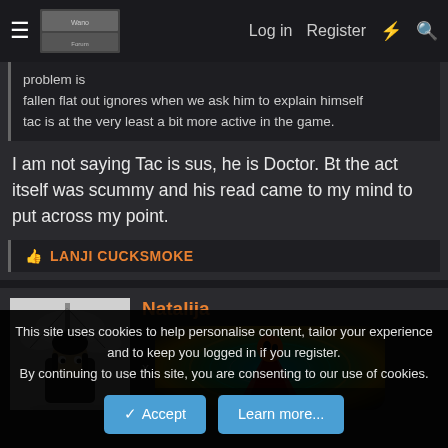Log in  Register
problem is
fallen flat out ignores when we ask him to explain himself
tac is at the very least a bit more active in the game.
I am not saying Tac is sus, he is Doctor. Bt the act itself was scummy and his read came to my mind to put across my point.
LANJI CUCKSMOKE
[Figure (illustration): Manga-style black and white illustration of a character]
Natalija
[Figure (illustration): Moderator badge with anime character in swirling background, text MODERATOR]
This site uses cookies to help personalise content, tailor your experience and to keep you logged in if you register.
By continuing to use this site, you are consenting to our use of cookies.
Accept  Learn more...